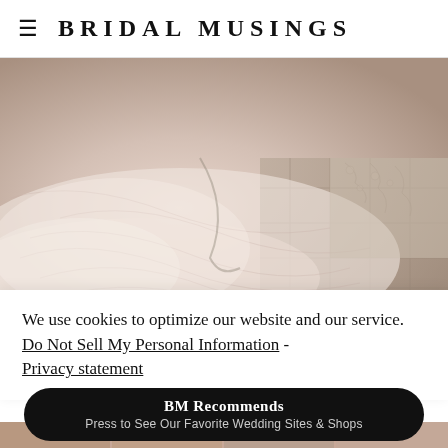≡  BRIDAL MUSINGS
[Figure (photo): Close-up photograph of a white/blush tulle wedding dress train spread across tiled floor, with lace bodice visible in the upper right corner. Black and white toned image.]
We use cookies to optimize our website and our service.  Do Not Sell My Personal Information  -  Privacy statement
[Figure (infographic): Dark pill-shaped button with text 'BM Recommends' and subtitle 'Press to See Our Favorite Wedding Sites & Shops']
[Figure (photo): Partial bottom strip showing thumbnail images of wedding photos]